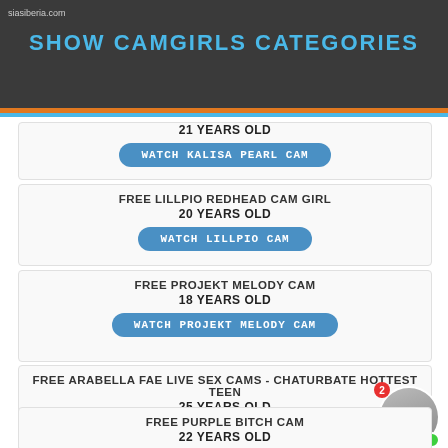siasiberia.com
SHOW CAMGIRLS CATEGORIES
21 YEARS OLD
WATCH KALISA PEARL CAM
FREE LILLPIO REDHEAD CAM GIRL
20 YEARS OLD
WATCH LILLPIO CAM
FREE PROJEKT MELODY CAM
18 YEARS OLD
WATCH PROJEKT MELODY CAM
FREE ARABELLA FAE LIVE SEX CAMS - CHATURBATE HOTTEST TEEN
25 YEARS OLD
WATCH ARABELLA FAE CAM
FREE PURPLE BITCH CAM
22 YEARS OLD
WATCH PURPLE BITCH CAM